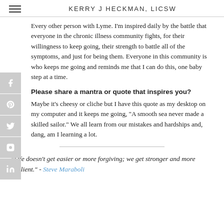KERRY J HECKMAN, LICSW
Every other person with Lyme. I'm inspired daily by the battle that everyone in the chronic illness community fights, for their willingness to keep going, their strength to battle all of the symptoms, and just for being them. Everyone in this community is who keeps me going and reminds me that I can do this, one baby step at a time.
Please share a mantra or quote that inspires you?
Maybe it's cheesy or cliche but I have this quote as my desktop on my computer and it keeps me going, "A smooth sea never made a skilled sailor." We all learn from our mistakes and hardships and, dang, am I learning a lot.
"Life doesn't get easier or more forgiving; we get stronger and more resilient." - Steve Maraboli